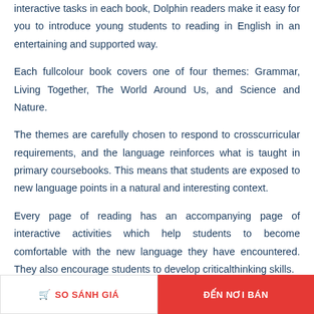interactive tasks in each book, Dolphin readers make it easy for you to introduce young students to reading in English in an entertaining and supported way.
Each fullcolour book covers one of four themes: Grammar, Living Together, The World Around Us, and Science and Nature.
The themes are carefully chosen to respond to crosscurricular requirements, and the language reinforces what is taught in primary coursebooks. This means that students are exposed to new language points in a natural and interesting context.
Every page of reading has an accompanying page of interactive activities which help students to become comfortable with the new language they have encountered. They also encourage students to develop criticalthinking skills.
SO SÁNH GIÁ   ĐẾN NƠI BÁN